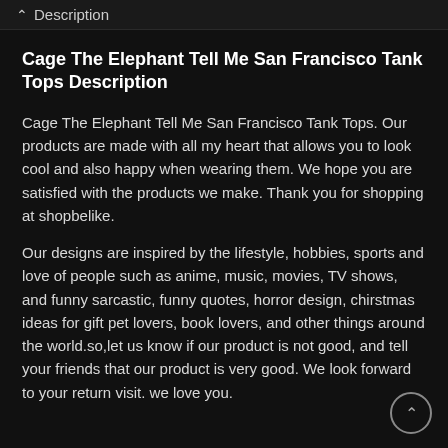Description
Cage The Elephant Tell Me San Francisco Tank Tops Description
Cage The Elephant Tell Me San Francisco Tank Tops. Our products are made with all my heart that allows you to look cool and also happy when wearing them. We hope you are satisfied with the products we make. Thank you for shopping at shopbelike.
Our designs are inspired by the lifestyle, hobbies, sports and love of people such as anime, music, movies, TV shows, and funny sarcastic, funny quotes, horror design, chirstmas ideas for gift pet lovers, book lovers, and other things around the world.so,let us know if our product is not good, and tell your friends that our product is very good. We look forward to your return visit. we love you.